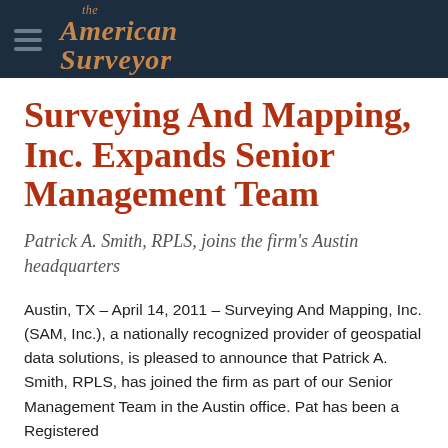the American Surveyor
Surveying And Mapping, Inc. Expands Senior Management Team
Patrick A. Smith, RPLS, joins the firm's Austin headquarters
Austin, TX – April 14, 2011 – Surveying And Mapping, Inc. (SAM, Inc.), a nationally recognized provider of geospatial data solutions, is pleased to announce that Patrick A. Smith, RPLS, has joined the firm as part of our Senior Management Team in the Austin office. Pat has been a Registered